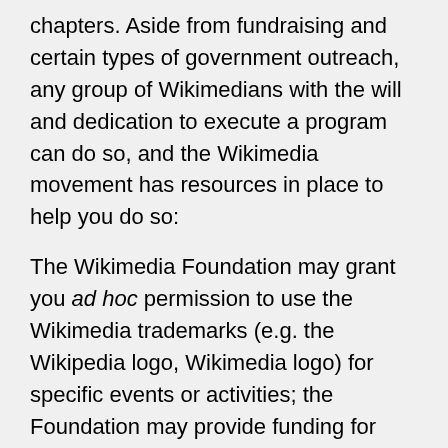chapters. Aside from fundraising and certain types of government outreach, any group of Wikimedians with the will and dedication to execute a program can do so, and the Wikimedia movement has resources in place to help you do so:
The Wikimedia Foundation may grant you ad hoc permission to use the Wikimedia trademarks (e.g. the Wikipedia logo, Wikimedia logo) for specific events or activities; the Foundation may provide funding for your program via the competitive process called the Wikimedia Grants Program; other Wikimedia organizations may offer funding, advice, and other resources.
Applicants are required to have developed and conducted offline and online activities over at least two years prior to seeking recognition as a chapter.